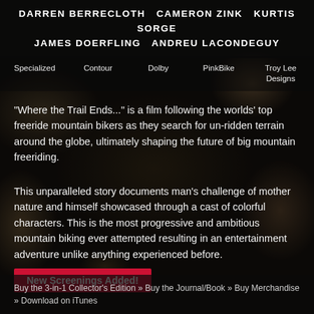[Figure (photo): Dark rocky terrain background with stone/rock texture, dimly lit]
DARREN BERRECLOTH   CAMERON ZINK   KURTIS SORGE
JAMES DOERFLING   ANDREU LACONDEGUY
Specialized    Contour    Dolby    PinkBike    Troy Lee Designs
"Where the Trail Ends..." is a film following the worlds' top freeride mountain bikers as they search for un-ridden terrain around the globe, ultimately shaping the future of big mountain freeriding.
This unparalleled story documents man's challenge of mother nature and himself showcased through a cast of colorful characters. This is the most progressive and ambitious mountain biking ever attempted resulting in an entertainment adventure unlike anything experienced before.
New Screenings Added!
Buy the 3-in-1 Collector's Edition » Buy the Journal/Book » Buy Merchandise » Download on iTunes